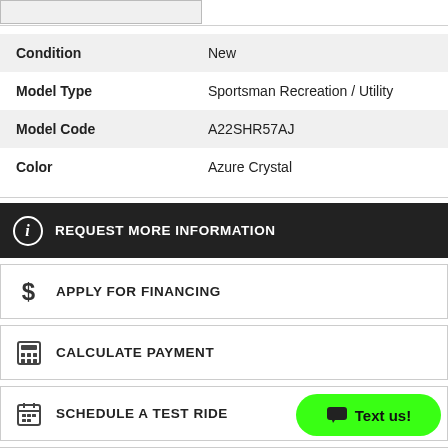[Figure (other): Partial image thumbnail stub at top of page]
| Attribute | Value |
| --- | --- |
| Condition | New |
| Model Type | Sportsman Recreation / Utility |
| Model Code | A22SHR57AJ |
| Color | Azure Crystal |
REQUEST MORE INFORMATION
APPLY FOR FINANCING
CALCULATE PAYMENT
SCHEDULE A TEST RIDE
Text us!
INSURANCE QUOTE